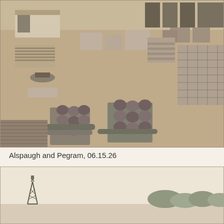[Figure (photo): Black and white aerial/elevated photograph of an outdoor construction or industrial storage yard showing stacks of building materials, pipes, lumber, boxes and crates arranged in rows. Buildings and railroad cars visible in the background.]
Alspaugh and Pegram, 06.15.26
[Figure (photo): Black and white photograph showing a wide open landscape or construction site. A metal tower or derrick structure is visible on the left side. Trees or vegetation visible on the right. Sky takes up much of the upper portion of the image.]